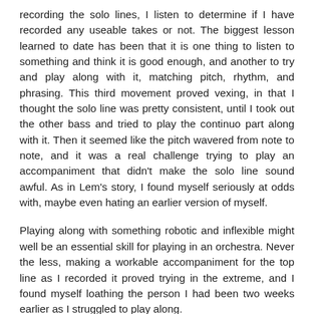recording the solo lines, I listen to determine if I have recorded any useable takes or not. The biggest lesson learned to date has been that it is one thing to listen to something and think it is good enough, and another to try and play along with it, matching pitch, rhythm, and phrasing. This third movement proved vexing, in that I thought the solo line was pretty consistent, until I took out the other bass and tried to play the continuo part along with it. Then it seemed like the pitch wavered from note to note, and it was a real challenge trying to play an accompaniment that didn't make the solo line sound awful. As in Lem's story, I found myself seriously at odds with, maybe even hating an earlier version of myself.
Playing along with something robotic and inflexible might well be an essential skill for playing in an orchestra. Never the less, making a workable accompaniment for the top line as I recorded it proved trying in the extreme, and I found myself loathing the person I had been two weeks earlier as I struggled to play along.